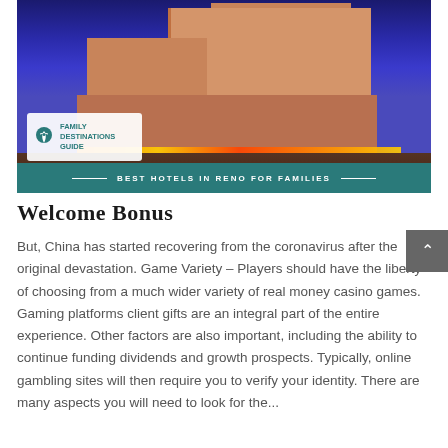[Figure (photo): Photo of a large hotel and casino building in Reno, lit up at night with a teal banner reading 'BEST HOTELS IN RENO FOR FAMILIES' and a Family Destinations Guide logo overlay in the lower left.]
Welcome Bonus
But, China has started recovering from the coronavirus after the original devastation. Game Variety – Players should have the liberty of choosing from a much wider variety of real money casino games. Gaming platforms client gifts are an integral part of the entire experience. Other factors are also important, including the ability to continue funding dividends and growth prospects. Typically, online gambling sites will then require you to verify your identity. There are many aspects you will need to look for the...